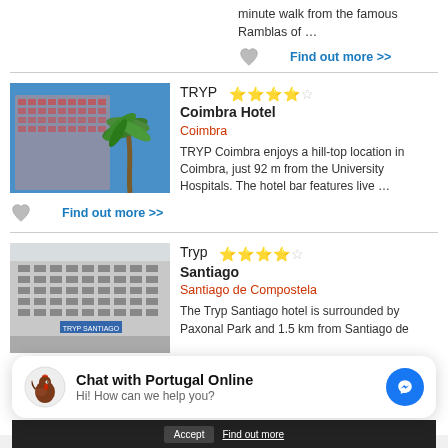minute walk from the famous Ramblas of …
Find out more >>
[Figure (photo): Hotel building with palm tree, TRYP Coimbra Hotel]
TRYP Coimbra Hotel — Coimbra — 4 stars
TRYP Coimbra enjoys a hill-top location in Coimbra, just 92 m from the University Hospitals. The hotel bar features live …
Find out more >>
[Figure (photo): TRYP Santiago hotel building exterior]
Tryp Santiago — Santiago de Compostela — 4 stars
The Tryp Santiago hotel is surrounded by Paxonal Park and 1.5 km from Santiago de
Chat with Portugal Online — Hi! How can we help you?